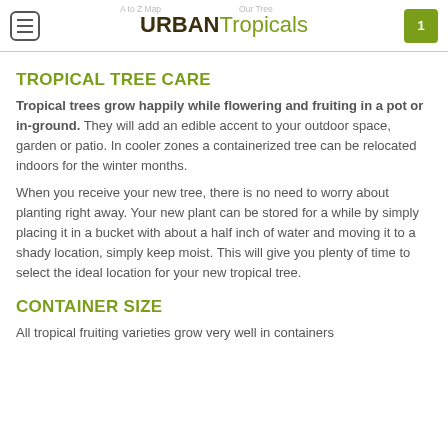URBAN Tropicals
TROPICAL TREE CARE
Tropical trees grow happily while flowering and fruiting in a pot or in-ground. They will add an edible accent to your outdoor space, garden or patio. In cooler zones a containerized tree can be relocated indoors for the winter months.
When you receive your new tree, there is no need to worry about planting right away. Your new plant can be stored for a while by simply placing it in a bucket with about a half inch of water and moving it to a shady location, simply keep moist. This will give you plenty of time to select the ideal location for your new tropical tree.
CONTAINER SIZE
All tropical fruiting varieties grow very well in containers